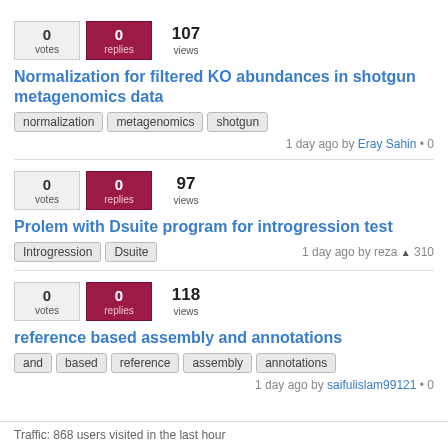0 votes | 0 replies | 107 views
Normalization for filtered KO abundances in shotgun metagenomics data
normalization | metagenomics | shotgun
1 day ago by Eray Sahin • 0
0 votes | 0 replies | 97 views
Prolem with Dsuite program for introgression test
Introgression | Dsuite | 1 day ago by reza ▲ 310
0 votes | 0 replies | 118 views
reference based assembly and annotations
and | based | reference | assembly | annotations
1 day ago by saifulislam99121 • 0
Traffic: 868 users visited in the last hour